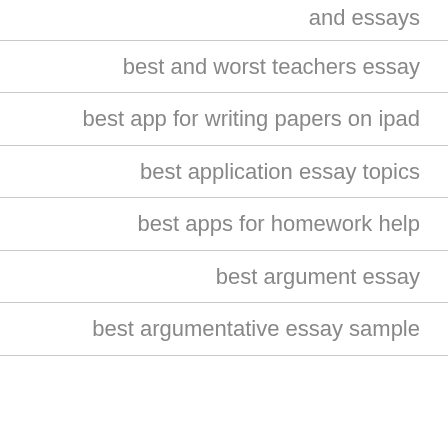and essays
best and worst teachers essay
best app for writing papers on ipad
best application essay topics
best apps for homework help
best argument essay
best argumentative essay sample